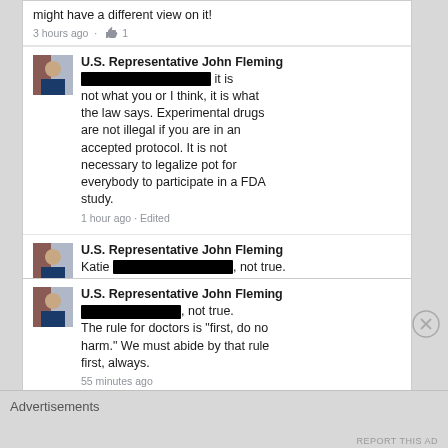...surgery was not an option, they might have a different view on it!
3 hours ago · 1
U.S. Representative John Fleming — [redacted] it is not what you or I think, it is what the law says. Experimental drugs are not illegal if you are in an accepted protocol. It is not necessary to legalize pot for everybody to participate in a FDA study.
1 hour ago · Edited
U.S. Representative John Fleming — Katie [redacted], not true. The rule for doctors is "first, do no harm." We must abide by that rule
U.S. Representative John Fleming — [redacted], not true. The rule for doctors is "first, do no harm." We must abide by that rule first, always.
55 minutes ago
[redacted] I'll say it again I AM NOT FOR WIDESPREAD LEGSLIZATION! I am for changing the schedule from 1 to schedule 2, the same schedule that cocaine and morphine and
Advertisements